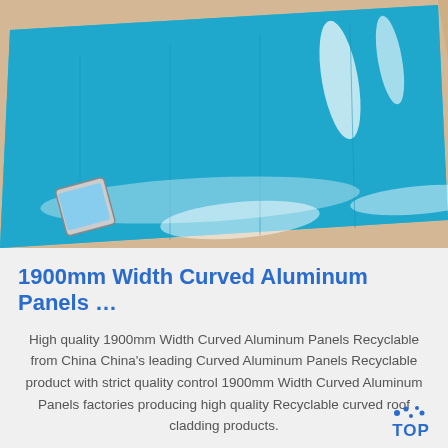[Figure (photo): Photo of a large bright blue curved aluminum panel or sheet laid flat, with light reflections visible on its surface. A smartphone is visible in the bottom-left corner of the image.]
1900mm Width Curved Aluminum Panels …
High quality 1900mm Width Curved Aluminum Panels Recyclable from China China's leading Curved Aluminum Panels Recyclable product with strict quality control 1900mm Width Curved Aluminum Panels factories producing high quality Recyclable curved roof cladding products.
Get Price